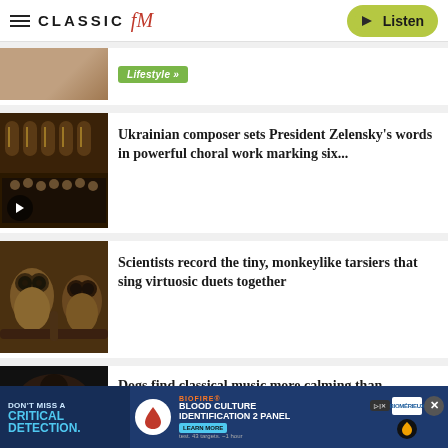CLASSIC FM — Listen
[Figure (photo): Partial view of a close-up eye image with a green Lifestyle tag button]
[Figure (photo): Ukrainian choral ensemble performing in an ornate church interior]
Ukrainian composer sets President Zelensky's words in powerful choral work marking six...
[Figure (photo): Two tarsiers, small primates with large eyes, on a branch]
Scientists record the tiny, monkeylike tarsiers that sing virtuosic duets together
[Figure (photo): Partial dark image, dogs article thumbnail]
Dogs find classical music more calming than
[Figure (infographic): Advertisement banner: DON'T MISS A CRITICAL DETECTION. BioFire Blood Culture Identification 2 Panel. Learn More. Biomerieux logo.]